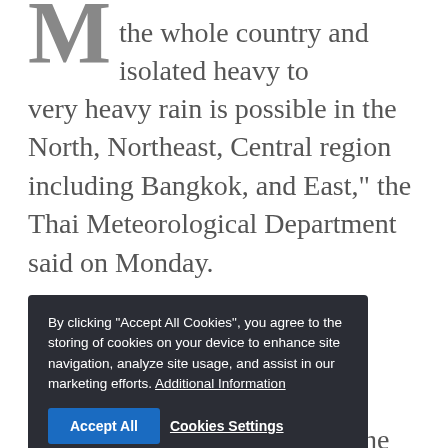M the whole country and isolated heavy to very heavy rain is possible in the North, Northeast, Central region including Bangkok, and East," the Thai Meteorological Department said on Monday.
Moderate southwest monsoon conditions will prevail across Thailand, the Gulf, and the Andaman Sea until Tuesday, the department said.
It warned that people caught in heavy rains and storms should stay away from big trees and unsecured billboards, while transport modes should take extra caution and farmers prepare for crop damage.
The following areas are at risk of rainstorms on
[Figure (other): Cookie consent modal overlay with dark background. Text reads: 'By clicking "Accept All Cookies", you agree to the storing of cookies on your device to enhance site navigation, analyze site usage, and assist in our marketing efforts. Additional Information'. Buttons: 'Accept All' (blue) and 'Cookies Settings' (text link).]